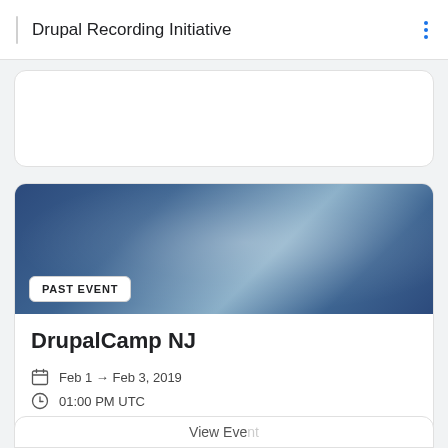Drupal Recording Initiative
[Figure (screenshot): Blue gradient banner with 'PAST EVENT' badge at bottom left]
DrupalCamp NJ
Feb 1 → Feb 3, 2019
01:00 PM UTC
https://www.drupalcampnj.org/